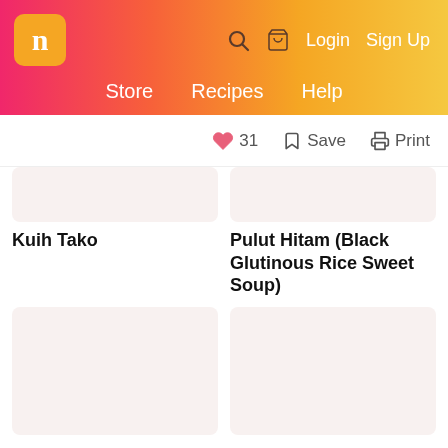n | Store  Recipes  Help | Login  Sign Up
♥ 31  🔖 Save  🖨 Print
Kuih Tako
Pulut Hitam (Black Glutinous Rice Sweet Soup)
[Figure (photo): Recipe card image placeholder - light pinkish beige]
[Figure (photo): Recipe card image placeholder - light pinkish beige]